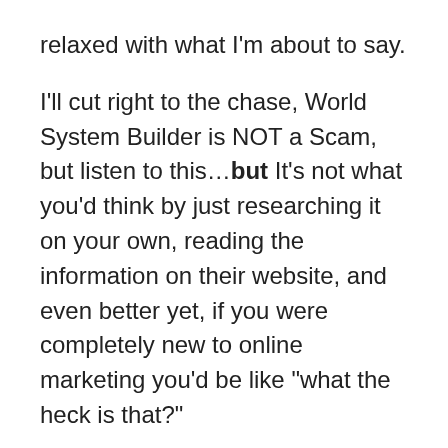relaxed with what I'm about to say.
I'll cut right to the chase, World System Builder is NOT a Scam, but listen to this…but It's not what you'd think by just researching it on your own, reading the information on their website, and even better yet, if you were completely new to online marketing you'd be like "what the heck is that?"
Listen, I've been writing scam reviews, and all these make money online opportunities and nothing ever seems to shock me anymore, especially like the one about End financial